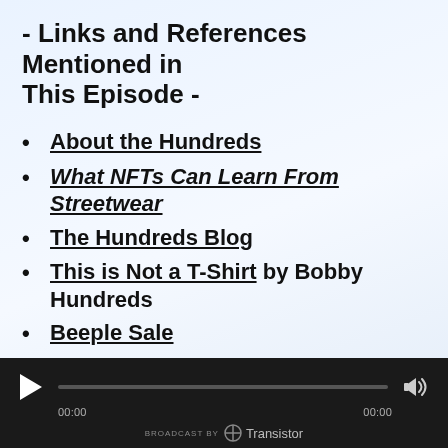- Links and References Mentioned in This Episode -
About the Hundreds
What NFTs Can Learn From Streetwear
The Hundreds Blog
This is Not a T-Shirt by Bobby Hundreds
Beeple Sale
The Robots
BROADCAST BY Transistor | 00:00 ... 00:00